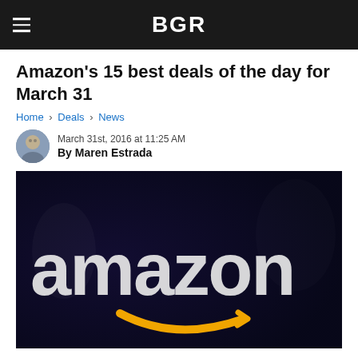BGR
Amazon's 15 best deals of the day for March 31
Home › Deals › News
March 31st, 2016 at 11:25 AM
By Maren Estrada
[Figure (photo): Close-up photo of the Amazon logo sign with white 3D lettering and the orange/yellow arrow smile logo on a dark navy background]